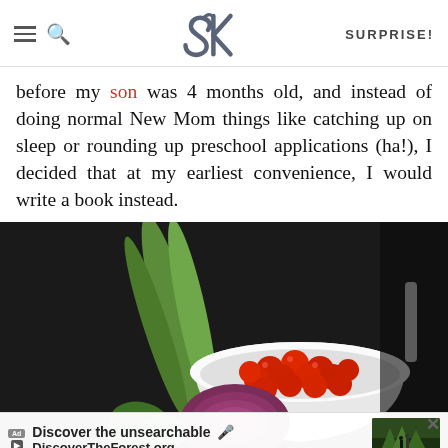SK SURPRISE!
before my son was 4 months old, and instead of doing normal New Mom things like catching up on sleep or rounding up preschool applications (ha!), I decided that at my earliest convenience, I would write a book instead.
[Figure (photo): Dark background photo showing a white bowl filled with cherry tomatoes, with green celery stalks and a halved red onion arranged beside it. An advertisement banner overlays the bottom: 'Discover the unsearchable / DiscoverTheForest.org' with a thumbnail of hikers in a forest.]